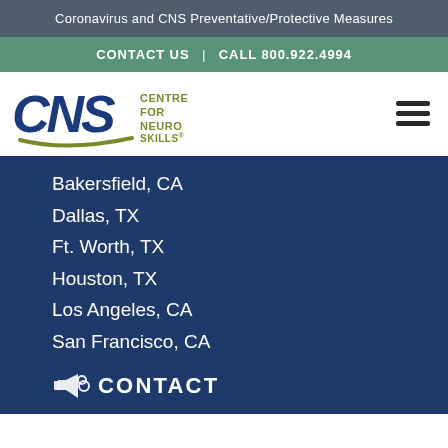Coronavirus and CNS Preventative/Protective Measures
CONTACT US | CALL 800.922.4994
[Figure (logo): CNS Centre for Neuro Skills logo with hamburger menu icon]
Bakersfield, CA
Dallas, TX
Ft. Worth, TX
Houston, TX
Los Angeles, CA
San Francisco, CA
CONTACT